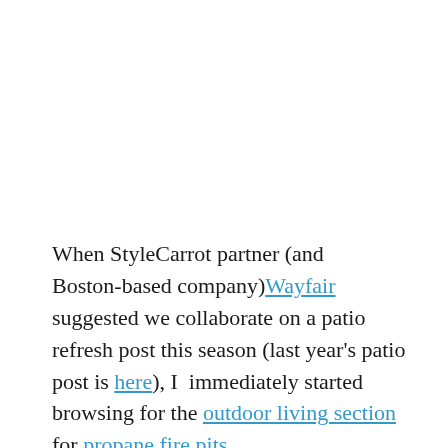When StyleCarrot partner (and Boston-based company)Wayfair suggested we collaborate on a patio refresh post this season (last year's patio post is here), I  immediately started browsing for the outdoor living section for propane fire pits.
Sure, we could use some sofa-like seating for entertaining, since we only have two loungers